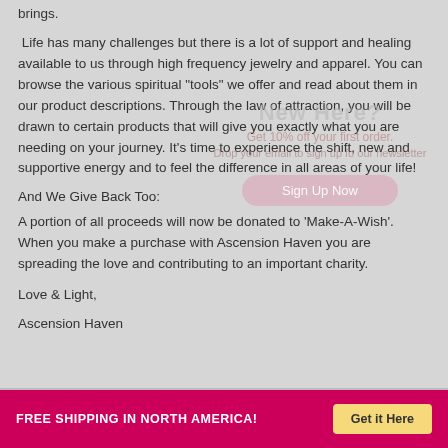brings.
Life has many challenges but there is a lot of support and healing available to us through high frequency jewelry and apparel. You can browse the various spiritual "tools" we offer and read about them in our product descriptions. Through the law of attraction, you will be drawn to certain products that will give you exactly what you are needing on your journey. It's time to experience the shift, new and supportive energy and to feel the difference in all areas of your life!
And We Give Back Too:
A portion of all proceeds will now be donated to 'Make-A-Wish'. When you make a purchase with Ascension Haven you are spreading the love and contributing to an important charity.
Love & Light,
Ascension Haven
FREE SHIPPING IN NORTH AMERICA!   Get it Here